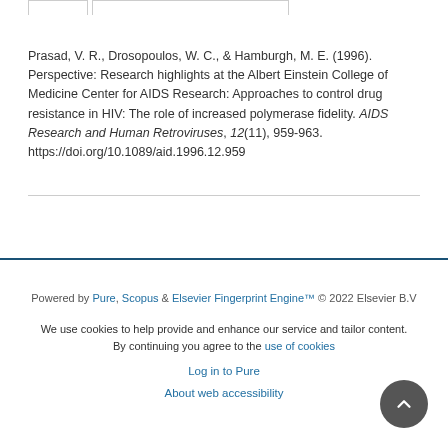Prasad, V. R., Drosopoulos, W. C., & Hamburgh, M. E. (1996). Perspective: Research highlights at the Albert Einstein College of Medicine Center for AIDS Research: Approaches to control drug resistance in HIV: The role of increased polymerase fidelity. AIDS Research and Human Retroviruses, 12(11), 959-963. https://doi.org/10.1089/aid.1996.12.959
Powered by Pure, Scopus & Elsevier Fingerprint Engine™ © 2022 Elsevier B.V
We use cookies to help provide and enhance our service and tailor content. By continuing you agree to the use of cookies
Log in to Pure
About web accessibility